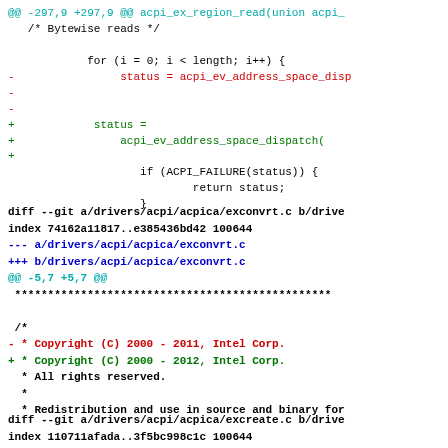@@ -297,9 +297,9 @@ acpi_ex_region_read(union acpi_
    /* Bytewise reads */

            for (i = 0; i < length; i++) {
-                status = acpi_ev_address_space_disp
-
-
+            status =
+                acpi_ev_address_space_dispatch(
+
                    if (ACPI_FAILURE(status)) {
                            return status;
                    }
diff --git a/drivers/acpi/acpica/exconvrt.c b/drive
index 74162a11817..e385436bd42 100644
--- a/drivers/acpi/acpica/exconvrt.c
+++ b/drivers/acpi/acpica/exconvrt.c
@@ -5,7 +5,7 @@
  ************************************************

  /*
- * Copyright (C) 2000 - 2011, Intel Corp.
+ * Copyright (C) 2000 - 2012, Intel Corp.
   * All rights reserved.
   *
   * Redistribution and use in source and binary for
diff --git a/drivers/acpi/acpica/excreate.c b/drive
index 110711afada..3f5bc998c1c 100644